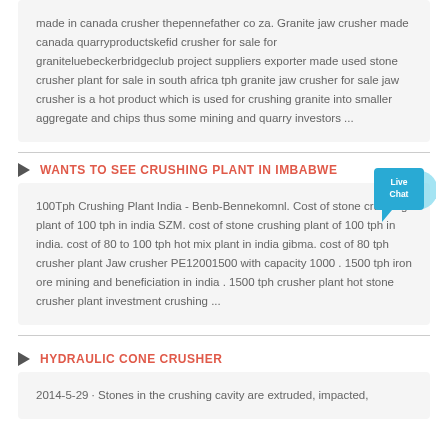made in canada crusher thepennefather co za. Granite jaw crusher made canada quarryproductskefid crusher for sale for graniteluebeckerbridgeclub project suppliers exporter made used stone crusher plant for sale in south africa tph granite jaw crusher for sale jaw crusher is a hot product which is used for crushing granite into smaller aggregate and chips thus some mining and quarry investors ...
WANTS TO SEE CRUSHING PLANT IN IMBABWE
100Tph Crushing Plant India - Benb-Bennekomnl. Cost of stone crushing plant of 100 tph in india SZM. cost of stone crushing plant of 100 tph in india. cost of 80 to 100 tph hot mix plant in india gibma. cost of 80 tph crusher plant Jaw crusher PE12001500 with capacity 1000 . 1500 tph iron ore mining and beneficiation in india . 1500 tph crusher plant hot stone crusher plant investment crushing ...
HYDRAULIC CONE CRUSHER
2014-5-29 · Stones in the crushing cavity are extruded, impacted,